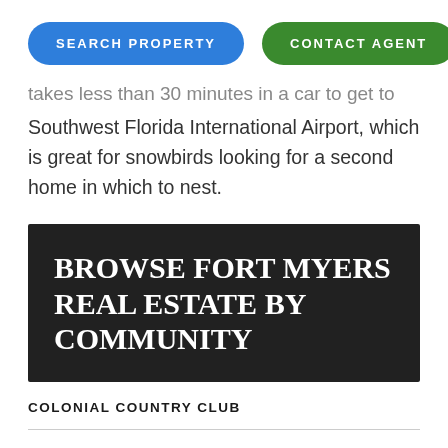[Figure (other): Two pill-shaped buttons: 'SEARCH PROPERTY' in blue and 'CONTACT AGENT' in green]
takes less than 30 minutes in a car to get to Southwest Florida International Airport, which is great for snowbirds looking for a second home in which to nest.
BROWSE FORT MYERS REAL ESTATE BY COMMUNITY
COLONIAL COUNTRY CLUB
MIROMAR LAKES